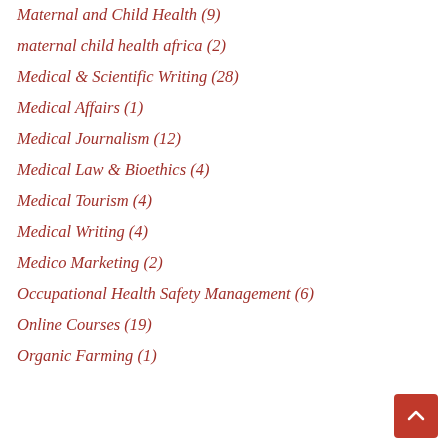Maternal and Child Health (9)
maternal child health africa (2)
Medical & Scientific Writing (28)
Medical Affairs (1)
Medical Journalism (12)
Medical Law & Bioethics (4)
Medical Tourism (4)
Medical Writing (4)
Medico Marketing (2)
Occupational Health Safety Management (6)
Online Courses (19)
Organic Farming (1)